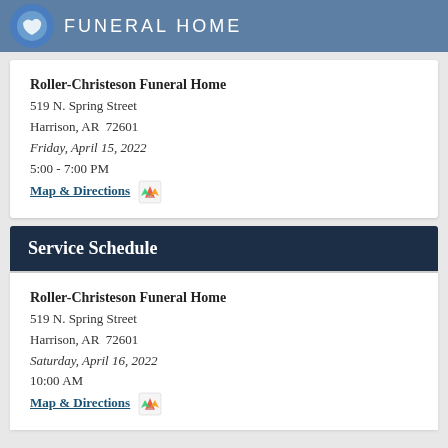FUNERAL HOME
Roller-Christeson Funeral Home
519 N. Spring Street
Harrison, AR  72601
Friday, April 15, 2022
5:00 - 7:00 PM
Map & Directions
Service Schedule
Roller-Christeson Funeral Home
519 N. Spring Street
Harrison, AR  72601
Saturday, April 16, 2022
10:00 AM
Map & Directions